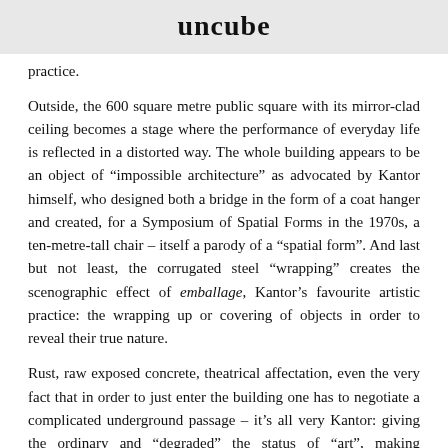uncube
practice.
Outside, the 600 square metre public square with its mirror-clad ceiling becomes a stage where the performance of everyday life is reflected in a distorted way. The whole building appears to be an object of “impossible architecture” as advocated by Kantor himself, who designed both a bridge in the form of a coat hanger and created, for a Symposium of Spatial Forms in the 1970s, a ten-metre-tall chair – itself a parody of a “spatial form”. And last but not least, the corrugated steel “wrapping” creates the scenographic effect of emballage, Kantor’s favourite artistic practice: the wrapping up or covering of objects in order to reveal their true nature.
Rust, raw exposed concrete, theatrical affectation, even the very fact that in order to just enter the building one has to negotiate a complicated underground passage – it’s all very Kantor: giving the ordinary and “degraded” the status of “art”, making everyday, worn-out objects into works of art, and